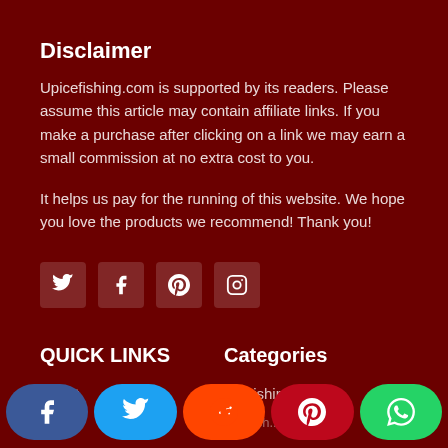Disclaimer
Upicefishing.com is supported by its readers. Please assume this article may contain affiliate links. If you make a purchase after clicking on a link we may earn a small commission at no extra cost to you.
It helps us pay for the running of this website. We hope you love the products we recommend! Thank you!
[Figure (infographic): Four social media icon buttons in rounded square boxes: Twitter (bird icon), Facebook (f icon), Pinterest (P icon), Instagram (camera icon)]
QUICK LINKS
Categories
About
FlyFishing
Ice Fish...
Share buttons: Facebook, Twitter, Reddit, Pinterest, WhatsApp